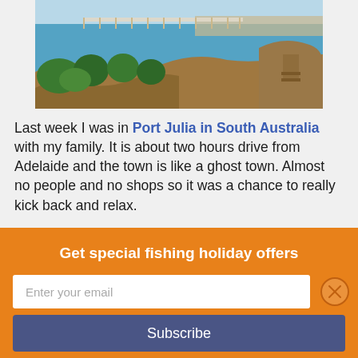[Figure (photo): Coastal landscape photo showing a long pier/jetty extending over blue water, with green trees and rocky cliffs in the foreground]
Last week I was in Port Julia in South Australia with my family. It is about two hours drive from Adelaide and the town is like a ghost town. Almost no people and no shops so it was a chance to really kick back and relax.
Get special fishing holiday offers
Enter your email
Subscribe